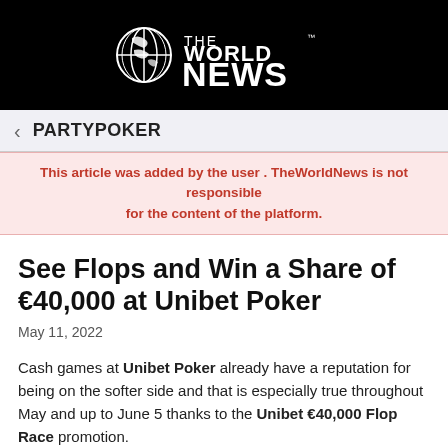[Figure (logo): The World News logo — globe icon with 'THE WORLD NEWS' text in white on black background]
< PARTYPOKER
This article was added by the user . TheWorldNews is not responsible for the content of the platform.
See Flops and Win a Share of €40,000 at Unibet Poker
May 11, 2022
Cash games at Unibet Poker already have a reputation for being on the softer side and that is especially true throughout May and up to June 5 thanks to the Unibet €40,000 Flop Race promotion.
The Unibet €40,000 Flop Race encourages players to see